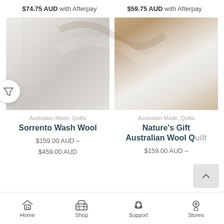$74.75 AUD with Afterpay
$59.75 AUD with Afterpay
[Figure (photo): Close-up of a white quilted wool mattress protector or quilt with diagonal stitching pattern]
[Figure (photo): White wool quilt draped over tan/gold satin pillows on a bed]
Australian Made, Quilts
Sorrento Wash Wool
$159.00 AUD – $459.00 AUD
Australian Made, Quilts
Nature's Gift Australian Wool Quilt
$159.00 AUD –
Home  Shop  Support  Stores